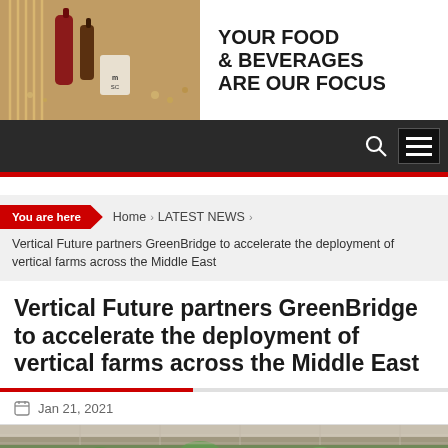[Figure (photo): Banner advertisement for a food and beverages company showing food items on the left and text 'YOUR FOOD & BEVERAGES ARE OUR FOCUS' on the right]
YOUR FOOD & BEVERAGES ARE OUR FOCUS
You are here  Home  LATEST NEWS
Vertical Future partners GreenBridge to accelerate the deployment of vertical farms across the Middle East
Vertical Future partners GreenBridge to accelerate the deployment of vertical farms across the Middle East
Jan 21, 2021
[Figure (photo): Partial image of vertical farm or greenhouse with green plants visible at the bottom of the page]